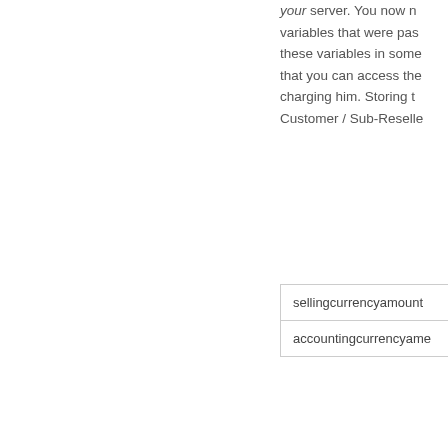your server. You now need to variables that were passed. Store these variables in some way so that you can access them when charging him. Storing the Customer / Sub-Reselle
| sellingcurrencyamount |
| accountingcurrencyame |